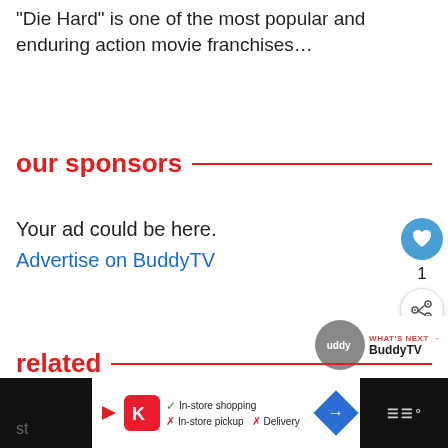"Die Hard" is one of the most popular and enduring action movie franchises…
our sponsors
Your ad could be here.
Advertise on BuddyTV
related
[Figure (infographic): BuddyTV 'What's Next' widget with circular logo]
[Figure (infographic): Bottom advertisement bar with Kroger logo, in-store shopping checklist, and navigation icon]
st